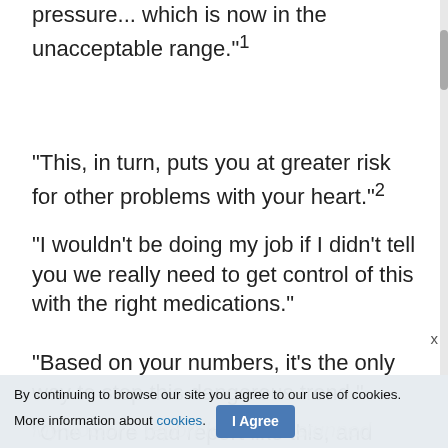pressure... which is now in the unacceptable range."1
"This, in turn, puts you at greater risk for other problems with your heart."2
"I wouldn't be doing my job if I didn't tell you we really need to get control of this with the right medications."
"Based on your numbers, it's the only way to stop this dangerous trend."
"One more bad report like this, and there might not be anything more I can do."
By continuing to browse our site you agree to our use of cookies. More information about cookies. I Agree
My doctor's report left me in stunned